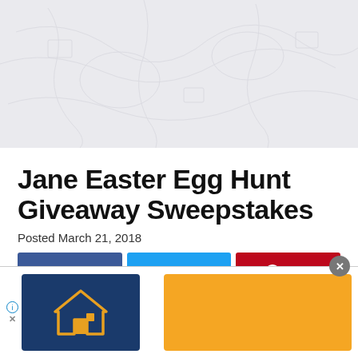[Figure (photo): Light gray decorative background image with faint map or texture pattern]
Jane Easter Egg Hunt Giveaway Sweepstakes
Posted March 21, 2018
[Figure (infographic): Three social share buttons: Share (Facebook, dark blue), Tweet (Twitter, light blue), Pin (Pinterest, dark red)]
[Figure (photo): Bottom portion of a colorful Easter-themed image, partially visible]
[Figure (infographic): Advertisement banner with dark blue logo box showing a house icon, and an orange rectangle on the right. Close button (X) at top right. AdChoices icon on the left.]